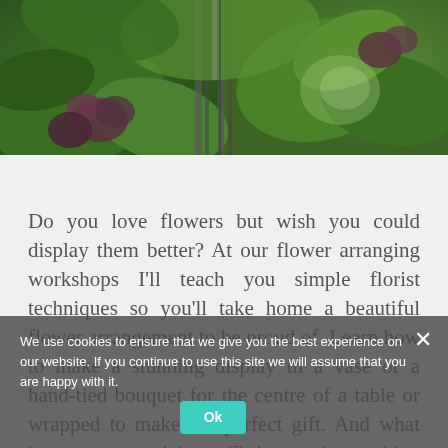[Figure (photo): Close-up photograph of green garden plants with dark purple/red flower clusters and vertical metal poles or stakes, lush foliage in background]
Do you love flowers but wish you could display them better? At our flower arranging workshops I'll teach you simple florist techniques so you'll take home a beautiful flower arrangement to be proud of. Learn how to make a stunning display in a vase or a hand-tied bouquet for the centre of a table or wrapped to make the perfect gift. And what better way to celebrate Christmas than making your own stylish festive wreath? Teaching
We use cookies to ensure that we give you the best experience on our website. If you continue to use this site we will assume that you are happy with it.